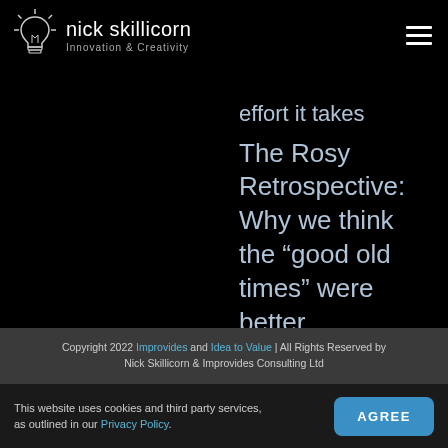nick skillicorn Innovation & Creativity
effort it takes
The Rosy Retrospective: Why we think the “good old times” were better
Copyright 2022 Improvides and Idea to Value | All Rights Reserved by Nick Skillicorn & Improvides Consulting Ltd
This website uses cookies and third party services, as outlined in our Privacy Policy.